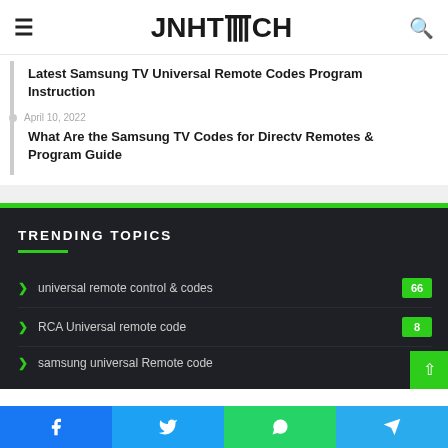JNHTECH
Latest Samsung TV Universal Remote Codes Program Instruction
April 10, 2022
What Are the Samsung TV Codes for Directv Remotes & Program Guide
TRENDING TOPICS
universal remote control & codes 66
RCA Universal remote code 8
samsung universal Remote code